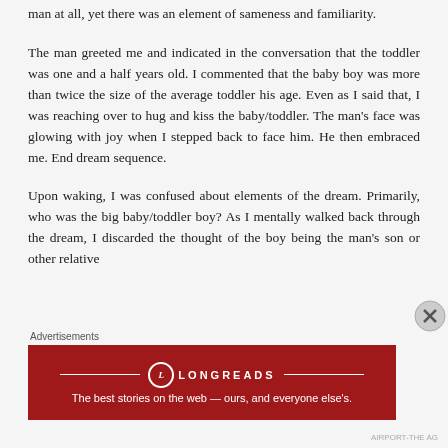man at all, yet there was an element of sameness and familiarity.
The man greeted me and indicated in the conversation that the toddler was one and a half years old. I commented that the baby boy was more than twice the size of the average toddler his age. Even as I said that, I was reaching over to hug and kiss the baby/toddler. The man’s face was glowing with joy when I stepped back to face him. He then embraced me. End dream sequence.
Upon waking, I was confused about elements of the dream. Primarily, who was the big baby/toddler boy? As I mentally walked back through the dream, I discarded the thought of the boy being the man’s son or other relative
Advertisements
[Figure (infographic): Longreads advertisement banner: dark red background with Longreads logo and tagline 'The best stories on the web — ours, and everyone else’s.']